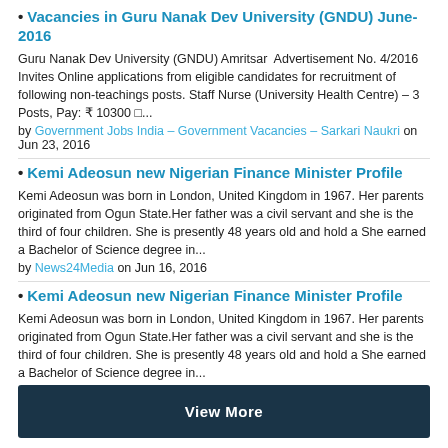Vacancies in Guru Nanak Dev University (GNDU) June-2016
Guru Nanak Dev University (GNDU) Amritsar  Advertisement No. 4/2016 Invites Online applications from eligible candidates for recruitment of following non-teachings posts. Staff Nurse (University Health Centre) – 3 Posts, Pay: ₹ 10300 □...
by Government Jobs India – Government Vacancies – Sarkari Naukri on Jun 23, 2016
Kemi Adeosun new Nigerian Finance Minister Profile
Kemi Adeosun was born in London, United Kingdom in 1967. Her parents originated from Ogun State.Her father was a civil servant and she is the third of four children. She is presently 48 years old and hold a She earned a Bachelor of Science degree in...
by News24Media on Jun 16, 2016
Kemi Adeosun new Nigerian Finance Minister Profile
Kemi Adeosun was born in London, United Kingdom in 1967. Her parents originated from Ogun State.Her father was a civil servant and she is the third of four children. She is presently 48 years old and hold a She earned a Bachelor of Science degree in...
by News24Media on Jun 16, 2016
View More